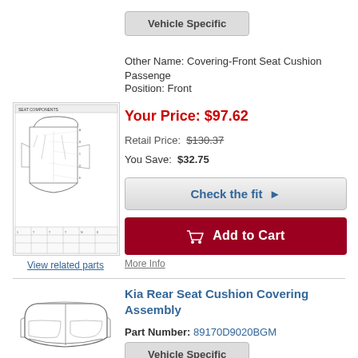[Figure (schematic): Small Kia part schematic/diagram showing seat components with labels]
View related parts
[Figure (other): Vehicle Specific button]
Other Name: Covering-Front Seat Cushion Passenge
Position: Front
Your Price: $97.62
Retail Price: $130.37
You Save: $32.75
Check the fit ▶
Add to Cart
More Info
Kia Rear Seat Cushion Covering Assembly
Part Number: 89170D9020BGM
[Figure (other): Vehicle Specific button (second product)]
[Figure (illustration): Kia rear seat cushion part illustration, line drawing]